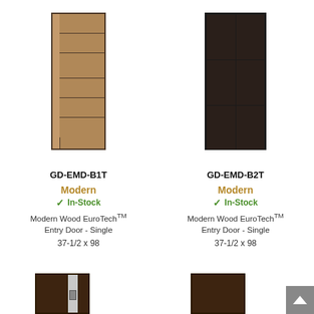[Figure (photo): Brown/tan modern wood entry door with horizontal panels and thin vertical strip on left side, product GD-EMD-B1T]
GD-EMD-B1T
Modern
In-Stock
Modern Wood EuroTech™ Entry Door - Single
37-1/2 x 98
[Figure (photo): Dark/black modern wood entry door with grid panel design, product GD-EMD-B2T]
GD-EMD-B2T
Modern
In-Stock
Modern Wood EuroTech™ Entry Door - Single
37-1/2 x 98
[Figure (photo): Partial view of dark wood entry door at bottom left, cut off]
[Figure (photo): Partial view of dark wood entry door at bottom right, cut off]